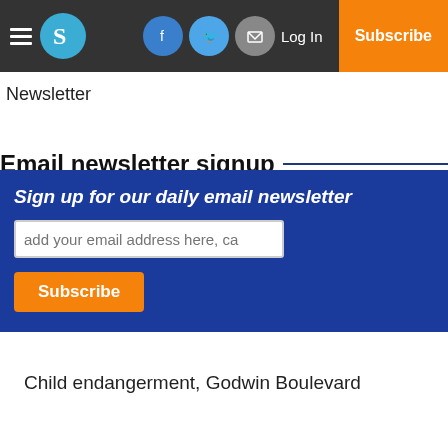[Figure (screenshot): Navigation bar with hamburger menu, S logo circle, Facebook icon, Twitter icon, email icon, Log In text, and Subscribe button]
Newsletter
Email newsletter signup
[Figure (infographic): Blue newsletter signup box with italic bold text 'Sign up for our daily email newsletter', email input field placeholder 'add your email address here, ca', and orange Subscribe button]
Child endangerment, Godwin Boulevard